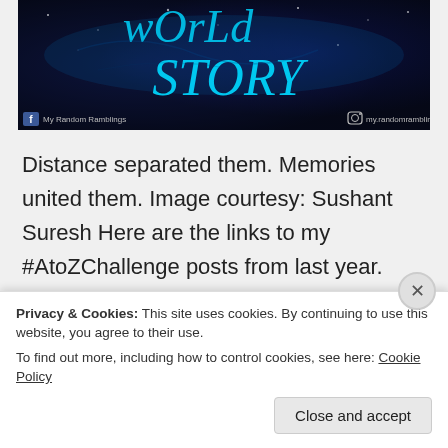[Figure (screenshot): Blog banner image with dark blue/navy background and glowing cyan cursive text reading 'WORLD STORY'. Bottom left shows Facebook icon with 'My Random Ramblings', bottom right shows Instagram icon with 'my.randomramblings'.]
Distance separated them. Memories united them. Image courtesy: Sushant Suresh Here are the links to my #AtoZChallenge posts from last year. Click on any letter to read the corresponding tiny tale. 😀 A B C D E F G H I J K L M N O P Q R S T U V W ...
Privacy & Cookies: This site uses cookies. By continuing to use this website, you agree to their use.
To find out more, including how to control cookies, see here: Cookie Policy
Close and accept